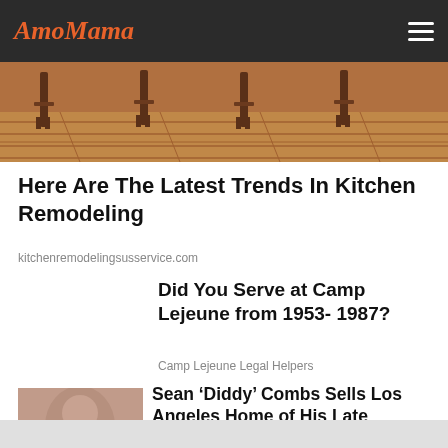AmoMama
[Figure (photo): Kitchen with wooden barstools and hardwood parquet floor]
Here Are The Latest Trends In Kitchen Remodeling
kitchenremodelingsusservice.com
Did You Serve at Camp Lejeune from 1953- 1987?
Camp Lejeune Legal Helpers
[Figure (photo): Portrait of Sean 'Diddy' Combs wearing sunglasses]
Sean ‘Diddy’ Combs Sells Los Angeles Home of His Late Girlfriend for Millions
Mansion Global